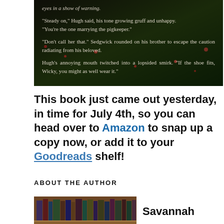[Figure (illustration): Dark fantasy book cover excerpt image with white text overlaid on a dark nature background with flowers and foliage, showing dialogue passages from the book.]
This book just came out yesterday, in time for July 4th, so you can head over to Amazon to snap up a copy now, or add it to your Goodreads shelf!
ABOUT THE AUTHOR
[Figure (photo): Photo of bookshelves filled with books]
Savannah